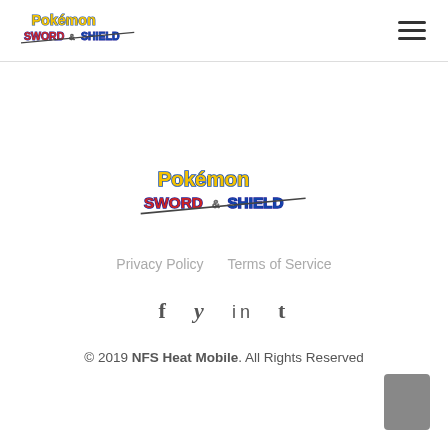Pokémon Sword & Shield logo and hamburger menu
[Figure (logo): Pokémon Sword & Shield logo centered on page]
Privacy Policy    Terms of Service
f  y  in  t
© 2019 NFS Heat Mobile. All Rights Reserved